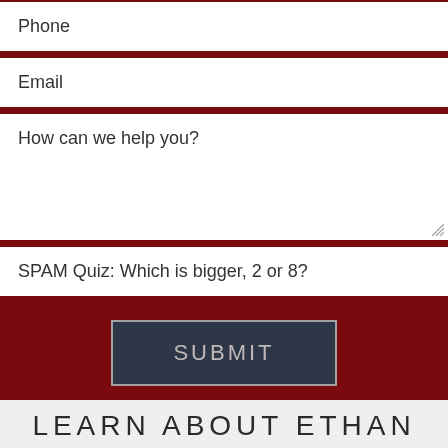Phone
Email
How can we help you?
SPAM Quiz: Which is bigger, 2 or 8?
SUBMIT
OR CALL: 917-239-5571
LEARN ABOUT ETHAN